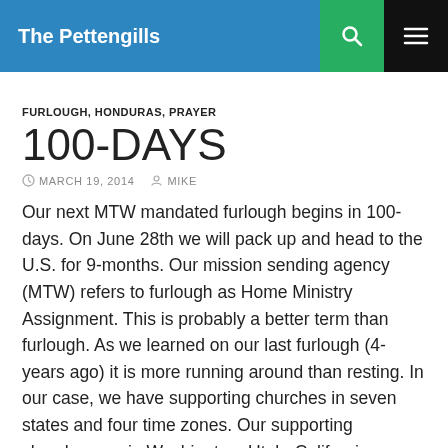The Pettengills
FURLOUGH, HONDURAS, PRAYER
100-DAYS
MARCH 19, 2014   MIKE
Our next MTW mandated furlough begins in 100-days. On June 28th we will pack up and head to the U.S. for 9-months. Our mission sending agency (MTW) refers to furlough as Home Ministry Assignment. This is probably a better term than furlough. As we learned on our last furlough (4-years ago) it is more running around than resting. In our case, we have supporting churches in seven states and four time zones. Our supporting churches are in Washington, Utah, California, Arizona, South Carolina, Georgia and Alabama. Time will be spent with each of them sharing all the amazing things God is